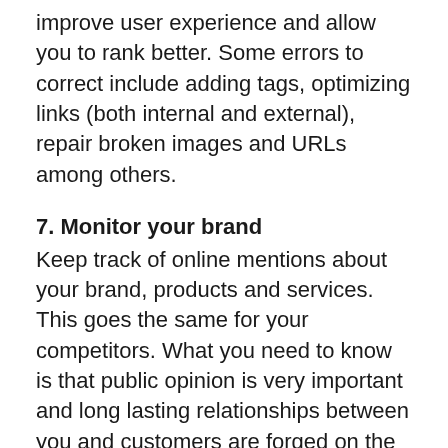improve user experience and allow you to rank better. Some errors to correct include adding tags, optimizing links (both internal and external), repair broken images and URLs among others.
7. Monitor your brand
Keep track of online mentions about your brand, products and services. This goes the same for your competitors. What you need to know is that public opinion is very important and long lasting relationships between you and customers are forged on the internet. You can learn about good and bad reviews when you engage monitoring tools like SEO ranking software.